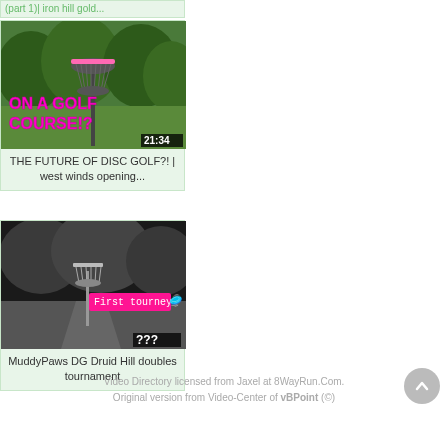(part 1)| iron hill gold...
[Figure (screenshot): Disc golf basket thumbnail with text ON A GOLF COURSE!? and duration 21:34]
THE FUTURE OF DISC GOLF?! | west winds opening...
[Figure (screenshot): Black and white outdoor scene thumbnail with First tourney label and duration ???]
MuddyPaws DG Druid Hill doubles tournament
Video Directory licensed from Jaxel at 8WayRun.Com. Original version from Video-Center of vBPoint (©)